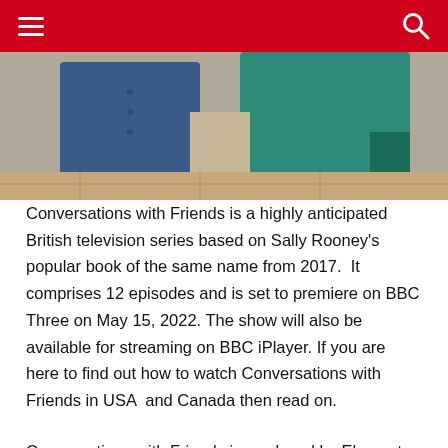≡  🔍
[Figure (photo): Photo showing two people from the waist down, one wearing a blue shirt and one wearing a teal/green top, standing indoors on a wooden floor.]
Conversations with Friends is a highly anticipated British television series based on Sally Rooney's popular book of the same name from 2017.  It comprises 12 episodes and is set to premiere on BBC Three on May 15, 2022. The show will also be available for streaming on BBC iPlayer. If you are here to find out how to watch Conversations with Friends in USA  and Canada then read on.
Conversations with Friends is produced by Element Pictures in cooperation with Raidio Teilifis Eireann, the